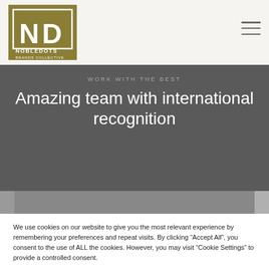[Figure (logo): NobleDots Brands Collective logo — gold/olive square with 'ND' monogram and text NOBLEDOTS BRANDS COLLECTIVE]
WORK WITH THE BEST
Amazing team with international recognition
We use cookies on our website to give you the most relevant experience by remembering your preferences and repeat visits. By clicking "Accept All", you consent to the use of ALL the cookies. However, you may visit "Cookie Settings" to provide a controlled consent.
Cookie Settings   Accept All